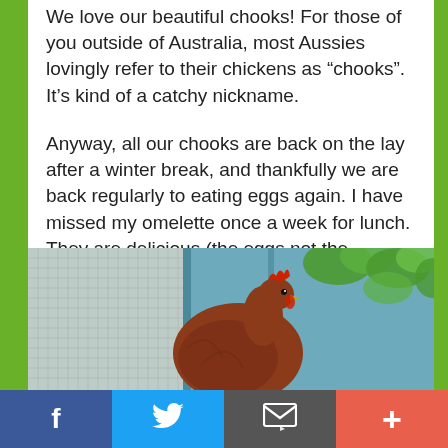We love our beautiful chooks!  For those of you outside of Australia, most Aussies lovingly refer to their chickens as “chooks”.  It’s kind of a catchy nickname.
Anyway, all our chooks are back on the lay after a winter break, and thankfully we are back regularly to eating eggs again.  I have missed my omelette once a week for lunch.  They are delicious (the eggs not the chooks).
[Figure (photo): A red-brown chicken (hen) in an outdoor garden setting with wire fencing, a light-colored fence/shed, and green leafy plants/trees in the background.]